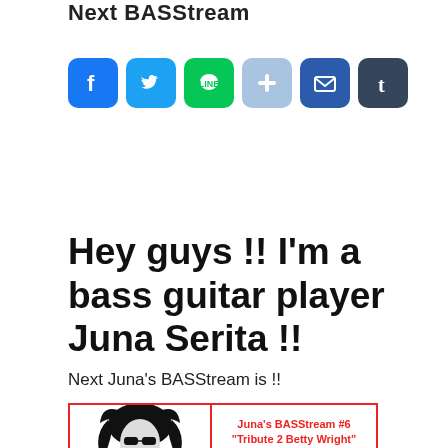Next BASStream
[Figure (infographic): Row of social media share buttons: Facebook (blue), Twitter (blue), LINE (green), Plus/Share (light blue), Mail (dark blue), Tumblr (dark grey)]
Hey guys !! I'm a bass guitar player Juna Serita !!
Next Juna's BASStream is !!
[Figure (infographic): Promotional flyer image showing a person with sunglasses and text: Juna's BASStream #6 'Tribute 2 Betty Wright' Instagram Live]